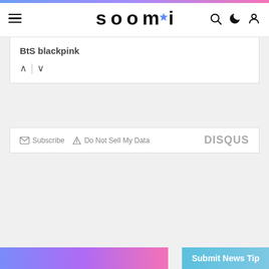soompi
BtS blackpink
Subscribe  Do Not Sell My Data  DISQUS
[Figure (screenshot): Submit News Tip button at bottom right, with blue-purple gradient background]
Submit News Tip